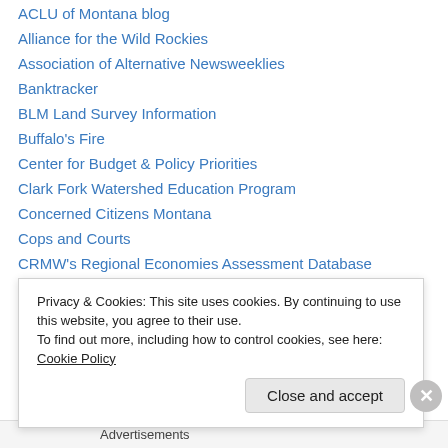ACLU of Montana blog
Alliance for the Wild Rockies
Association of Alternative Newsweeklies
Banktracker
BLM Land Survey Information
Buffalo's Fire
Center for Budget & Policy Priorities
Clark Fork Watershed Education Program
Concerned Citizens Montana
Cops and Courts
CRMW's Regional Economies Assessment Database
Dirty Oil Sands
Donate to the Missoula Food Bank
Donate to the Poverello Center
Privacy & Cookies: This site uses cookies. By continuing to use this website, you agree to their use. To find out more, including how to control cookies, see here: Cookie Policy
Advertisements